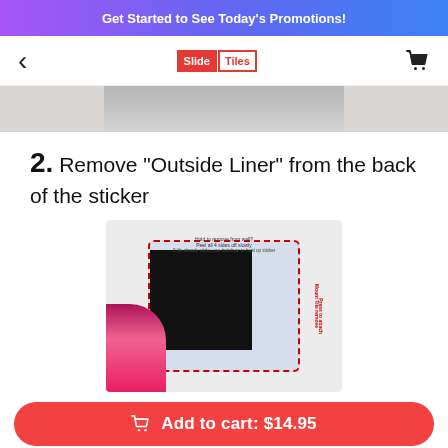Get Started to See Today's Promotions!
[Figure (screenshot): Slide Tiles logo with navigation back arrow and shopping cart icon in a white nav bar]
[Figure (photo): Partial product image at top — appears to be a hand holding a dark object against a light background]
2. Remove "Outside Liner" from the back of the sticker
[Figure (photo): Photo of a hand with pink fingernails holding a black tile/sticker with a white peel-off backing liner with red dashed border and instructions printed on the liner]
Add to cart:  $14.95
Free Shipping in the U.S.